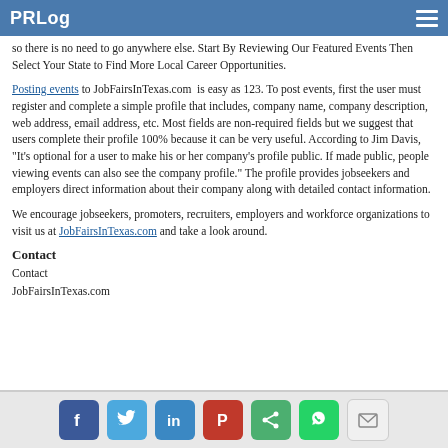PRLog
so there is no need to go anywhere else. Start By Reviewing Our Featured Events Then Select Your State to Find More Local Career Opportunities.
Posting events to JobFairsInTexas.com is easy as 123. To post events, first the user must register and complete a simple profile that includes, company name, company description, web address, email address, etc. Most fields are non-required fields but we suggest that users complete their profile 100% because it can be very useful. According to Jim Davis, "It's optional for a user to make his or her company's profile public. If made public, people viewing events can also see the company profile." The profile provides jobseekers and employers direct information about their company along with detailed contact information.
We encourage jobseekers, promoters, recruiters, employers and workforce organizations to visit us at JobFairsInTexas.com and take a look around.
Contact
Contact
JobFairsInTexas.com
Social sharing icons: Facebook, Twitter, LinkedIn, Pinterest, Share, WhatsApp, Email